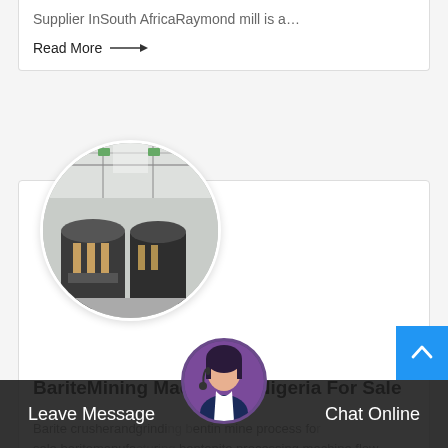Supplier InSouth AfricaRaymond mill is a…
Read More →
[Figure (photo): Circular cropped photo of industrial mining machines inside a large warehouse facility with overhead crane structure]
BariteMining Machine In Nigeria For Sale
Barite crusherandgrinding bentonin mine process for sale,baritemanufacturing bentonite processing machine,flow process production…
Leave Message   Chat Online